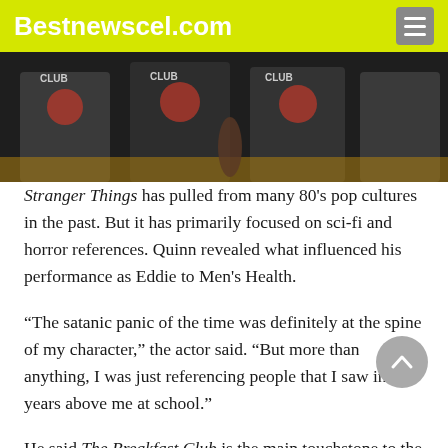Bestnewscel.com
[Figure (photo): People wearing Breakfast Club themed shirts/jerseys seated at a table]
Stranger Things has pulled from many 80's pop cultures in the past. But it has primarily focused on sci-fi and horror references. Quinn revealed what influenced his performance as Eddie to Men's Health.
“The satanic panic of the time was definitely at the spine of my character,” the actor said. “But more than anything, I was just referencing people that I saw in the years above me at school.”
He said The Breakfast Club is the main touchstone to the ‘80s for him. The interviewer said, “I definitely see a bit of Judd Nelson in Eddie.” Quinn replied, “I may have been thinking of